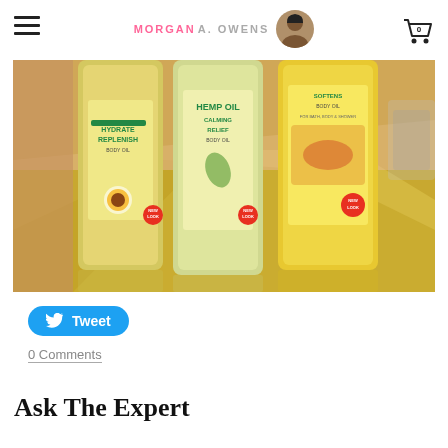MORGAN A. OWENS
[Figure (photo): Three bottles of body oil products on a reflective gold/mirrored surface: Hydrate Replenish Body Oil (coconut), Hemp Oil Calming Relief Body Oil, and Softens Body Oil, all from the same brand line]
Tweet
0 Comments
Ask The Expert